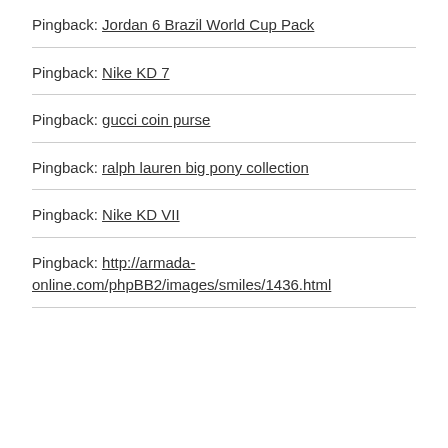Pingback: Jordan 6 Brazil World Cup Pack
Pingback: Nike KD 7
Pingback: gucci coin purse
Pingback: ralph lauren big pony collection
Pingback: Nike KD VII
Pingback: http://armada-online.com/phpBB2/images/smiles/1436.html